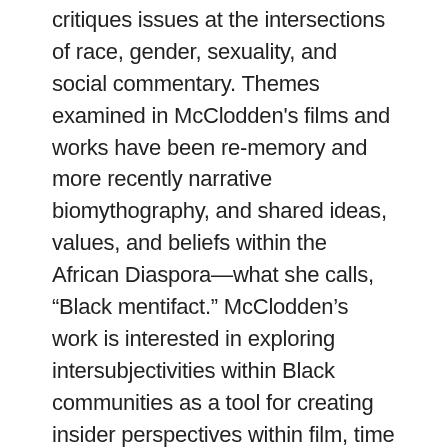critiques issues at the intersections of race, gender, sexuality, and social commentary. Themes examined in McClodden's films and works have been re-memory and more recently narrative biomythography, and shared ideas, values, and beliefs within the African Diaspora—what she calls, “Black mentifact.” McClodden’s work is interested in exploring intersubjectivities within Black communities as a tool for creating insider perspectives within film, time based works, and objects. McClodden lives and works in Philadelphia, PA.
This project was supported in part by an award from the National Endowment for the Arts and the generous support of The Shelley & Donald Rubin Foundation. Visual AIDS would also like to thank the